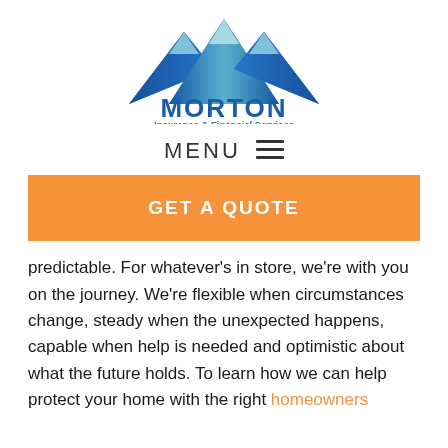[Figure (logo): Morton Insurance & Financial Services logo with blue mountain peaks graphic above bold blue MORTON text and smaller blue subtitle text 'Insurance & Financial Services']
MENU ≡
GET A QUOTE
predictable. For whatever's in store, we're with you on the journey. We're flexible when circumstances change, steady when the unexpected happens, capable when help is needed and optimistic about what the future holds. To learn how we can help protect your home with the right homeowners